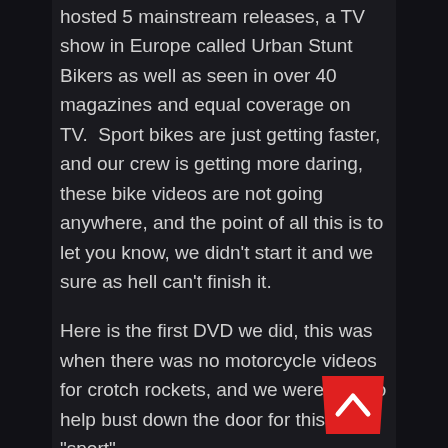hosted 5 mainstream releases, a TV show in Europe called Urban Stunt Bikers as well as seen in over 40 magazines and equal coverage on TV.  Sport bikes are just getting faster, and our crew is getting more daring, these bike videos are not going anywhere, and the point of all this is to let you know, we didn't start it and we sure as hell can't finish it.
Here is the first DVD we did, this was when there was no motorcycle videos for crotch rockets, and we were glad to help bust down the door for this "sport".
[Figure (other): Red trapezoidal scroll-to-top button with a white upward-pointing chevron arrow]